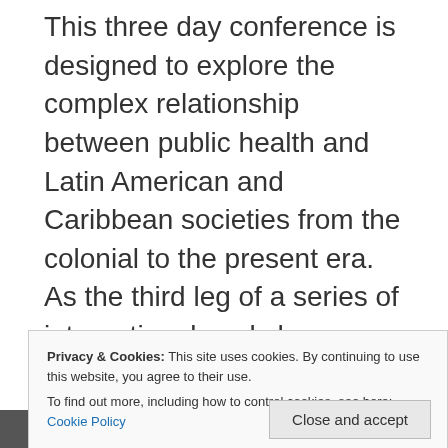This three day conference is designed to explore the complex relationship between public health and Latin American and Caribbean societies from the colonial to the present era. As the third leg of a series of international workshops on the history of public health policies and practice in these regions, it will focus on the engagement of medical personnel, policy makers, health agencies and the public in relation to the evolution of public health perspectives, regulations and implementation. It intends, as well, to pursue discourse on the varied consequences of imperialism, racism and classism in public health
Privacy & Cookies: This site uses cookies. By continuing to use this website, you agree to their use. To find out more, including how to control cookies, see here: Cookie Policy
of mental disabilities within the Caribbean and Latin America
Follow ···